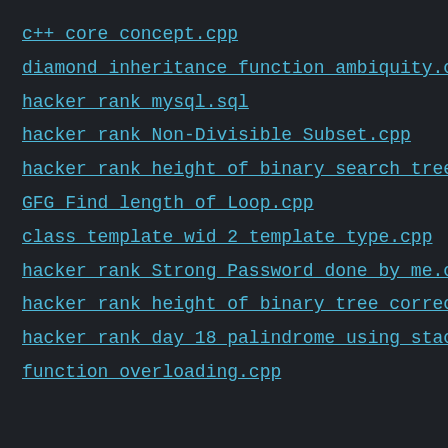c++ core concept.cpp
diamond inheritance function ambiquity.cpp
hacker rank mysql.sql
hacker rank Non-Divisible Subset.cpp
hacker rank height of binary search tree cor
GFG Find length of Loop.cpp
class template wid 2 template type.cpp
hacker rank Strong Password done by me.cpp
hacker rank height of binary tree correct do
hacker rank day 18 palindrome using stack an
function overloading.cpp